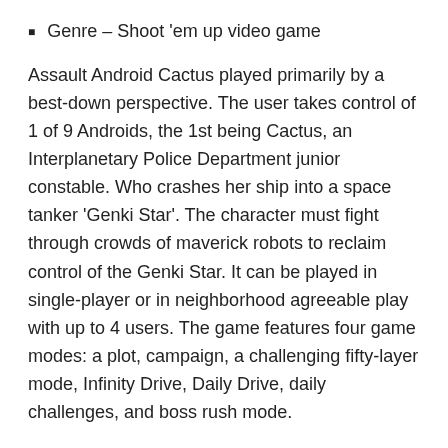Genre – Shoot 'em up video game
Assault Android Cactus played primarily by a best-down perspective. The user takes control of 1 of 9 Androids, the 1st being Cactus, an Interplanetary Police Department junior constable. Who crashes her ship into a space tanker 'Genki Star'. The character must fight through crowds of maverick robots to reclaim control of the Genki Star. It can be played in single-player or in neighborhood agreeable play with up to 4 users. The game features four game modes: a plot, campaign, a challenging fifty-layer mode, Infinity Drive, Daily Drive, daily challenges, and boss rush mode.
More: – I hope friends you will get your favorite game Assault Android Cactus for your PS4 gaming console. We are regularly uploading new and old best video game articles